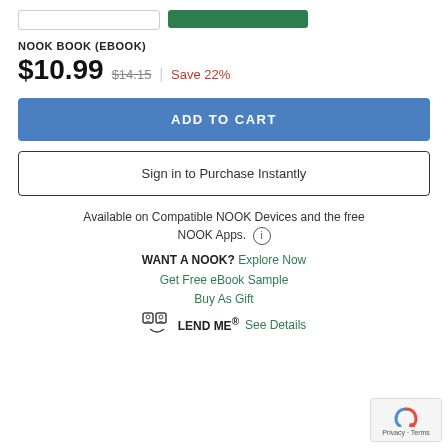NOOK BOOK (EBOOK)
$10.99  $14.15  |  Save 22%
ADD TO CART
Sign in to Purchase Instantly
Available on Compatible NOOK Devices and the free NOOK Apps.
WANT A NOOK?  Explore Now
Get Free eBook Sample
Buy As Gift
LEND ME® See Details